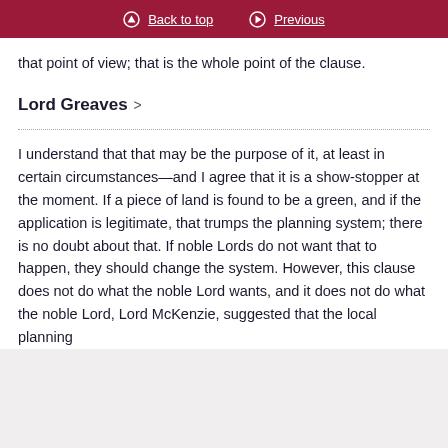Back to top   Previous
that point of view; that is the whole point of the clause.
Lord Greaves
I understand that that may be the purpose of it, at least in certain circumstances—and I agree that it is a show-stopper at the moment. If a piece of land is found to be a green, and if the application is legitimate, that trumps the planning system; there is no doubt about that. If noble Lords do not want that to happen, they should change the system. However, this clause does not do what the noble Lord wants, and it does not do what the noble Lord, Lord McKenzie, suggested that the local planning